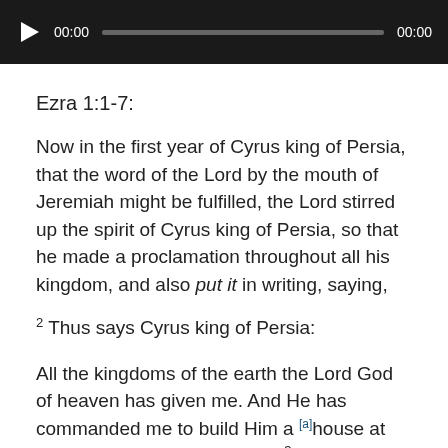[Figure (screenshot): Audio player bar with black background, play button (triangle), time display 00:00, progress bar, and end time 00:00]
Ezra 1:1-7:
Now in the first year of Cyrus king of Persia, that the word of the Lord by the mouth of Jeremiah might be fulfilled, the Lord stirred up the spirit of Cyrus king of Persia, so that he made a proclamation throughout all his kingdom, and also put it in writing, saying,
2 Thus says Cyrus king of Persia:
All the kingdoms of the earth the Lord God of heaven has given me. And He has commanded me to build Him a [a]house at Jerusalem which is in Judah. 3 Who is among you of all His people? May his God be with him, and let